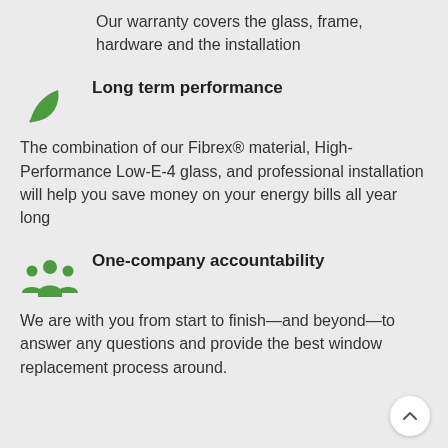Our warranty covers the glass, frame, hardware and the installation
[Figure (illustration): Green leaf icon]
Long term performance
The combination of our Fibrex® material, High-Performance Low-E-4 glass, and professional installation will help you save money on your energy bills all year long
[Figure (illustration): Green group of people / community icon]
One-company accountability
We are with you from start to finish—and beyond—to answer any questions and provide the best window replacement process around.